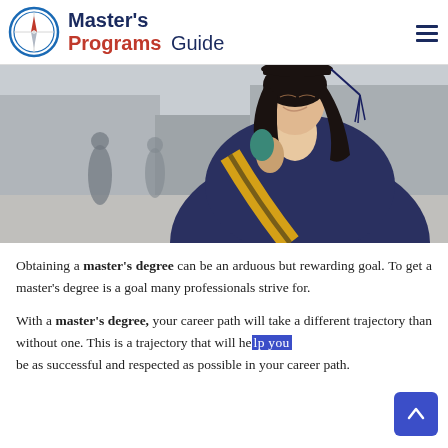Master's Programs Guide
[Figure (photo): A female graduate student wearing a graduation cap and gown with yellow/black sash, looking upward thoughtfully, with blurred urban background]
Obtaining a master's degree can be an arduous but rewarding goal. To get a master's degree is a goal many professionals strive for.
With a master's degree, your career path will take a different trajectory than without one. This is a trajectory that will help you be as successful and respected as possible in your career path.